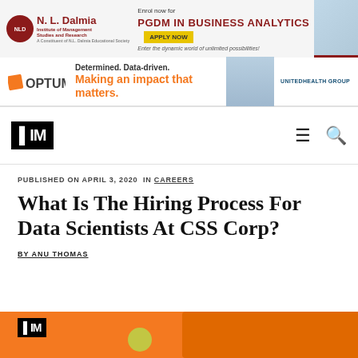[Figure (other): N.L. Dalmia Institute advertisement banner for PGDM in Business Analytics with Apply Now button]
[Figure (other): Optum advertisement banner: Determined. Data-driven. Making an impact that matters. UnitedHealth Group]
[Figure (logo): AIM (Analytics India Magazine) navigation bar with hamburger menu and search icon]
PUBLISHED ON APRIL 3, 2020 IN CAREERS
What Is The Hiring Process For Data Scientists At CSS Corp?
BY ANU THOMAS
[Figure (other): AIM branded orange hero image at bottom of page]